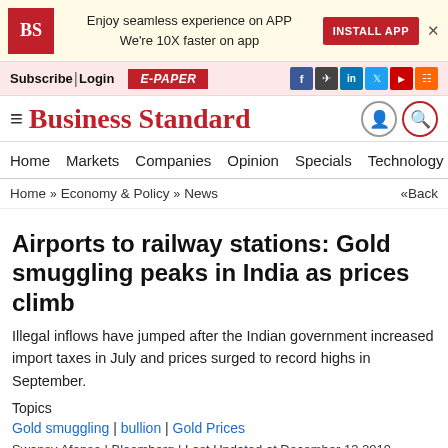[Figure (screenshot): Business Standard website banner ad with BS logo, 'Enjoy seamless experience on APP / We're 10X faster on app', INSTALL APP button, and close X]
Subscribe| Login   E-PAPER   [social icons: f, send, in, twitter, youtube, rss]
Business Standard
Home   Markets   Companies   Opinion   Specials   Technology   PF   Po
Home » Economy & Policy » News   «Back
Airports to railway stations: Gold smuggling peaks in India as prices climb
Illegal inflows have jumped after the Indian government increased import taxes in July and prices surged to record highs in September.
Topics
Gold smuggling | bullion | Gold Prices
Swansy Afonso | Bloomberg | Last Updated at December 13 2019